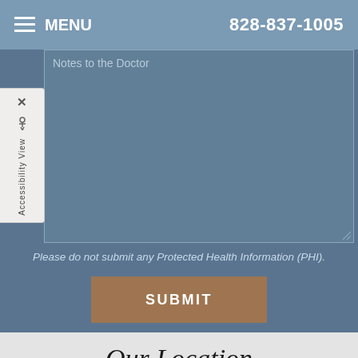MENU   828-837-1005
Notes to the Doctor
Please do not submit any Protected Health Information (PHI).
SUBMIT
Our Location
[Figure (map): Google Maps embed showing local area near Marble Springs with route 74, zoom in/out controls visible]